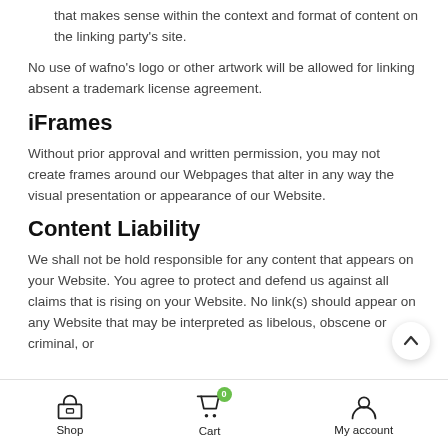that makes sense within the context and format of content on the linking party's site.
No use of wafno's logo or other artwork will be allowed for linking absent a trademark license agreement.
iFrames
Without prior approval and written permission, you may not create frames around our Webpages that alter in any way the visual presentation or appearance of our Website.
Content Liability
We shall not be hold responsible for any content that appears on your Website. You agree to protect and defend us against all claims that is rising on your Website. No link(s) should appear on any Website that may be interpreted as libelous, obscene or criminal, or
Shop  Cart  My account